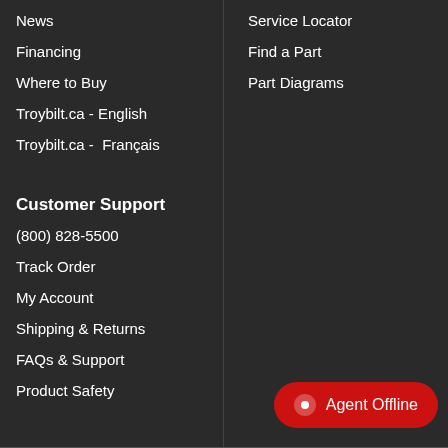News
Financing
Where to Buy
Troybilt.ca - English
Troybilt.ca -  Français
Customer Support
(800) 828-5500
Track Order
My Account
Shipping & Returns
FAQs & Support
Product Safety
Service Locator
Find a Part
Part Diagrams
Agent Offline